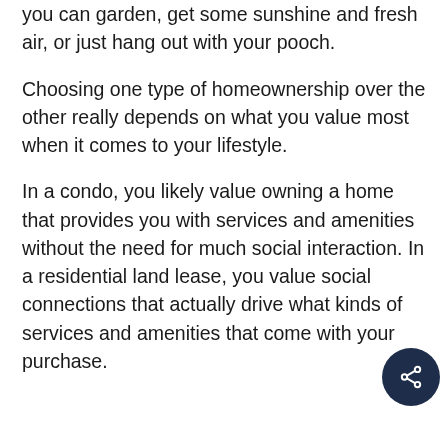you can garden, get some sunshine and fresh air, or just hang out with your pooch.
Choosing one type of homeownership over the other really depends on what you value most when it comes to your lifestyle.
In a condo, you likely value owning a home that provides you with services and amenities without the need for much social interaction. In a residential land lease, you value social connections that actually drive what kinds of services and amenities that come with your purchase.